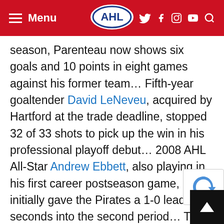Menu | AHL | Social icons
season, Parenteau now shows six goals and 10 points in eight games against his former team… Fifth-year goaltender David LeNeveu, acquired by Hartford at the trade deadline, stopped 32 of 33 shots to pick up the win in his professional playoff debut… 2008 AHL All-Star Andrew Ebbett, also playing in his first career postseason game, initially gave the Pirates a 1-0 lead 42 seconds into the second period… The teams went a combined 0-for-12 on the power play, including an 0-for-7 mark by a Hartford unit that ranked second in the league (21.0%) in the regular season… The Wolf Pack have an all-time series record of 9-3 when they win Game 1, but they have dropped their last two series in which they won the opener, including last year's seven-game divisional semifinal loss to Providence… The Pirates have won seven of 10 series all-time in which they dropped